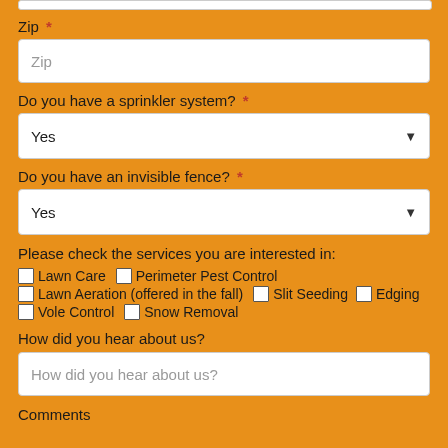Zip *
Zip (placeholder)
Do you have a sprinkler system? *
Yes (dropdown)
Do you have an invisible fence? *
Yes (dropdown)
Please check the services you are interested in:
Lawn Care
Perimeter Pest Control
Lawn Aeration (offered in the fall)
Slit Seeding
Edging
Vole Control
Snow Removal
How did you hear about us?
How did you hear about us? (placeholder)
Comments